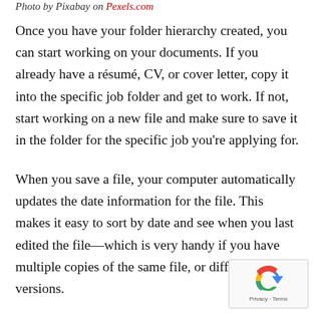Photo by Pixabay on Pexels.com
Once you have your folder hierarchy created, you can start working on your documents. If you already have a résumé, CV, or cover letter, copy it into the specific job folder and get to work. If not, start working on a new file and make sure to save it in the folder for the specific job you're applying for.
When you save a file, your computer automatically updates the date information for the file. This makes it easy to sort by date and see when you last edited the file—which is very handy if you have multiple copies of the same file, or different versions.